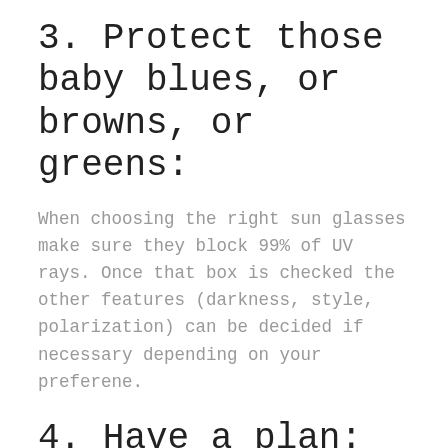3. Protect those baby blues, or browns, or greens:
When choosing the right sun glasses make sure they block 99% of UV rays. Once that box is checked the other features (darkness, style, polarization) can be decided if necessary depending on your preferene.
4. Have a plan:
It's great to adventure but having some sort of plan will help avoid situations that could